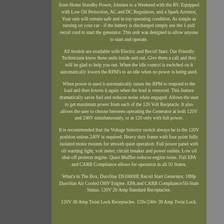from Home Standby Power, Jobsites to a Weekend with the RV. Equipped with Low Oil Protection, AC and DC Regulators, and a Spark Arrestor, Your unit will remain safe and in top operating condition. As simple as turning on your car - if the battery is discharged simply use the 1-pull recoil cord to start the generator. This unit was designed to allow anyone to start and operate.
All models are available with Electric and Recoil Start. Our Friendly Technicians know these units inside and out. Give them a call and they will be glad to help you out. When the idle control is switched on it automatically lowers the RPM's to an idle when no power is being used.
When power is used it automatically raises the RPM to respond to the load and then lowers it again when the load is removed. This feature dramatically saves fuel and reduces noise when engaged. Allows the user to get maximum power from each of the 120 Volt Recptacle. It also allows the user to choose between operating the Generator at both 120V and 240V simultaneously, or at 120 only with full power.
It is recommended that the Voltage Selector switch always be in the 120V position unless 240V is required. Heavy duty frame with four point fully isolated motor mounts for smooth quiet operation. Full power panel with oil warning light, volt meter, circuit breaker and power outlets. Low oil shut-off protects engine. Quiet Muffler reduces engine noise. Full EPA and CARB Compliance allows for operation in all 50 States.
What's in The Box. DuroStar DS10000E Recoil Start Generator. 18Hp DuroStar Air Cooled OHV Engine. EPA and CARB Compliance/50-State Status. 120V 20 Amp Standard Receptacles.
120V 30 Amp Twist Lock Receptacles. 120v/240v 30 Amp Twist Lock.